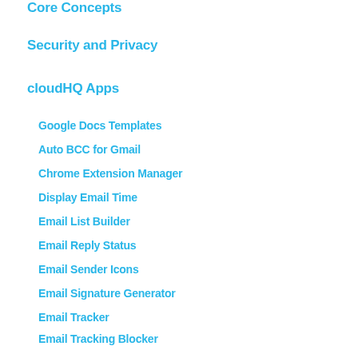Core Concepts
Security and Privacy
cloudHQ Apps
Google Docs Templates
Auto BCC for Gmail
Chrome Extension Manager
Display Email Time
Email List Builder
Email Reply Status
Email Sender Icons
Email Signature Generator
Email Tracker
Email Tracking Blocker
Email Zoom Text Reader
Embed YouTube Videos in Gmail